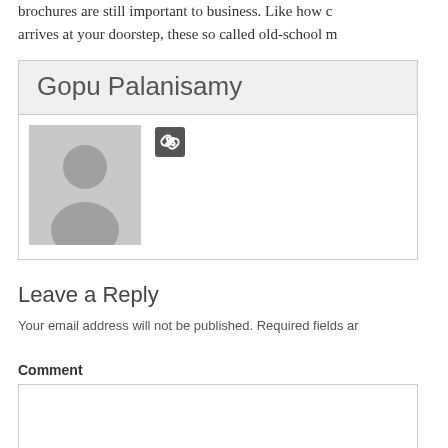brochures are still important to business. Like how c arrives at your doorstep, these so called old-school m
Gopu Palanisamy
[Figure (photo): Author avatar placeholder showing silhouette of a person on grey background, with a small dark link icon to the right]
Leave a Reply
Your email address will not be published. Required fields ar
Comment